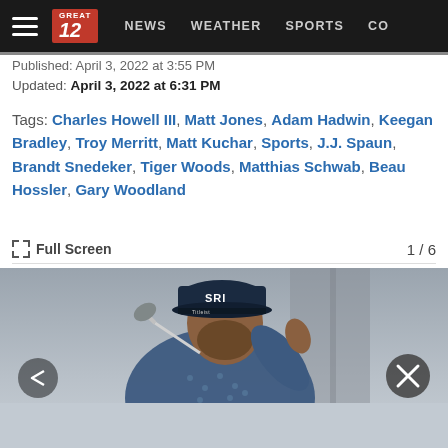GREAT 12 | NEWS | WEATHER | SPORTS | CO...
Published: April 3, 2022 at 3:55 PM
Updated: April 3, 2022 at 6:31 PM
Tags: Charles Howell III, Matt Jones, Adam Hadwin, Keegan Bradley, Troy Merritt, Matt Kuchar, Sports, J.J. Spaun, Brandt Snedeker, Tiger Woods, Matthias Schwab, Beau Hossler, Gary Woodland
Full Screen  1 / 6
[Figure (photo): Golfer wearing a dark navy SRI cap and patterned shirt, mid-swing or follow-through, photographed from behind/side against a grey background. A golf club shaft is visible. Lower portion shows a light grey bar.]